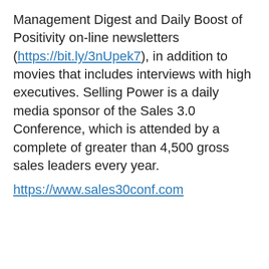Management Digest and Daily Boost of Positivity on-line newsletters (https://bit.ly/3nUpek7), in addition to movies that includes interviews with high executives. Selling Power is a daily media sponsor of the Sales 3.0 Conference, which is attended by a complete of greater than 4,500 gross sales leaders every year. https://www.sales30conf.com